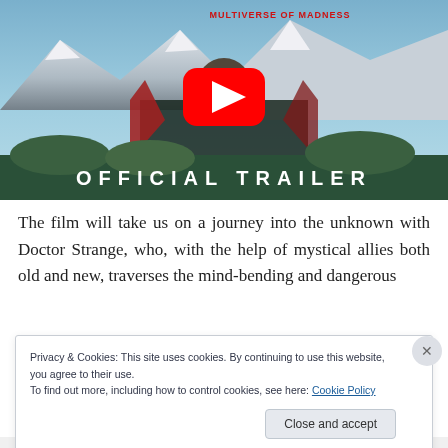[Figure (screenshot): YouTube video thumbnail for Doctor Strange in the Multiverse of Madness Official Trailer, showing Doctor Strange in red cape against mountain backdrop with a YouTube play button overlay and 'OFFICIAL TRAILER' text at the bottom]
The film will take us on a journey into the unknown with Doctor Strange, who, with the help of mystical allies both old and new, traverses the mind-bending and dangerous
Privacy & Cookies: This site uses cookies. By continuing to use this website, you agree to their use.
To find out more, including how to control cookies, see here: Cookie Policy